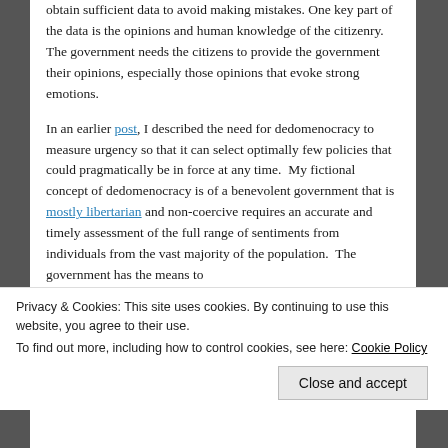obtain sufficient data to avoid making mistakes. One key part of the data is the opinions and human knowledge of the citizenry.   The government needs the citizens to provide the government their opinions, especially those opinions that evoke strong emotions.
In an earlier post, I described the need for dedomenocracy to measure urgency so that it can select optimally few policies that could pragmatically be in force at any time.  My fictional concept of dedomenocracy is of a benevolent government that is mostly libertarian and non-coercive requires an accurate and timely assessment of the full range of sentiments from individuals from the vast majority of the population.  The government has the means to
Privacy & Cookies: This site uses cookies. By continuing to use this website, you agree to their use.
To find out more, including how to control cookies, see here: Cookie Policy